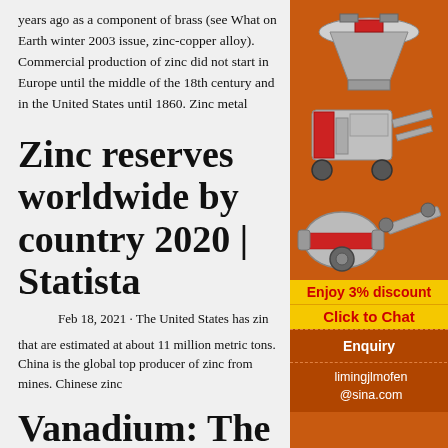years ago as a component of brass (see What on Earth winter 2003 issue, zinc-copper alloy). Commercial production of zinc did not start in Europe until the middle of the 18th century and in the United States until 1860. Zinc metal
Zinc reserves worldwide by country 2020 | Statista
Feb 18, 2021 · The United States has zinc reserves that are estimated at about 11 million metric tons. China is the global top producer of zinc from mines. Chinese zinc
Vanadium: The
[Figure (photo): Advertisement panel with orange background showing industrial mining/crushing machinery equipment in multiple configurations, with promotional text 'Enjoy 3% discount', 'Click to Chat', 'Enquiry', and email 'limingjlmofen@sina.com']